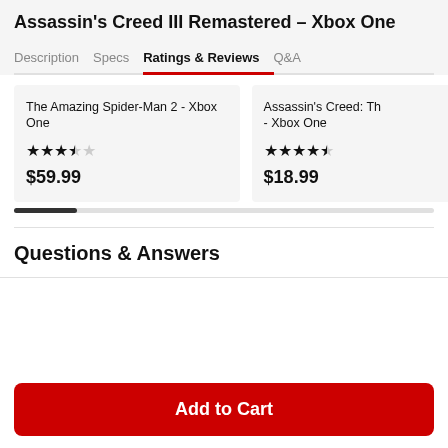Assassin's Creed III Remastered – Xbox One
Description | Specs | Ratings & Reviews | Q&A
[Figure (other): Product card: The Amazing Spider-Man 2 - Xbox One, 3.5 stars, $59.99]
[Figure (other): Product card: Assassin's Creed: Th... - Xbox One, 4.5 stars, $18.99]
Questions & Answers
Add to Cart